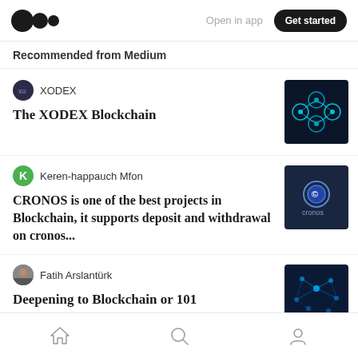Open in app | Get started
Recommended from Medium
XODEX
The XODEX Blockchain
[Figure (photo): Blockchain network abstract image with blue glowing chain links]
Keren-happauch Mfon
CRONOS is one of the best projects in Blockchain, it supports deposit and withdrawal on cronos...
[Figure (logo): Cronos logo on dark navy background]
Fatih Arslantürk
Deepening to Blockchain or 101
[Figure (photo): Blockchain network graphic on dark blue background]
Home | Search | Profile